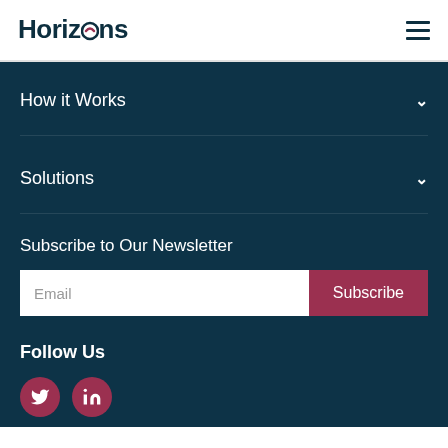Horizons
How it Works
Solutions
Subscribe to Our Newsletter
Email | Subscribe
Follow Us